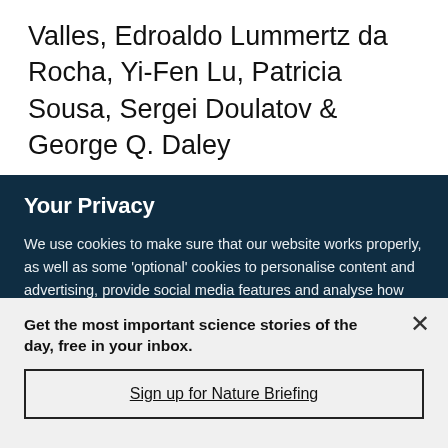Valles, Edroaldo Lummertz da Rocha, Yi-Fen Lu, Patricia Sousa, Sergei Doulatov & George Q. Daley
Your Privacy
We use cookies to make sure that our website works properly, as well as some ‘optional’ cookies to personalise content and advertising, provide social media features and analyse how people use our site. By accepting some or all optional cookies you give consent to the processing of your personal data, including transfer to third parties, some in countries outside of the European Economic Area that do not offer the same data protection standards as the country where you live. You can decide which optional cookies to accept by clicking on ‘Manage Settings’, where you can
Get the most important science stories of the day, free in your inbox.
Sign up for Nature Briefing